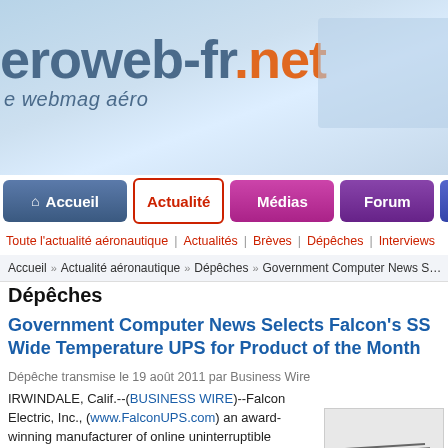[Figure (screenshot): Website header banner for aeroweb-fr.net with sky/clouds background, showing logo text 'aeroweb-fr.net' and subtitle 'le webmag aéro']
aeroweb-fr.net — le webmag aéro
Accueil | Actualité | Médias | Forum | Re...
Toute l'actualité aéronautique | Actualités | Brèves | Dépêches | Interviews
Accueil » Actualité aéronautique » Dépêches » Government Computer News S...
Dépêches
Government Computer News Selects Falcon's SS Wide Temperature UPS for Product of the Month
Dépêche transmise le 19 août 2011 par Business Wire
IRWINDALE, Calif.--(BUSINESS WIRE)--Falcon Electric, Inc., (www.FalconUPS.com) an award-winning manufacturer of online uninterruptible power supplies (UPSs), frequency converters and precision ac regulators, today announced that Government Computer News (GCN) has selected Falcon's SSG-RP 1kVA Wide Temperature Power Supply (UPS) as the Product of the Month